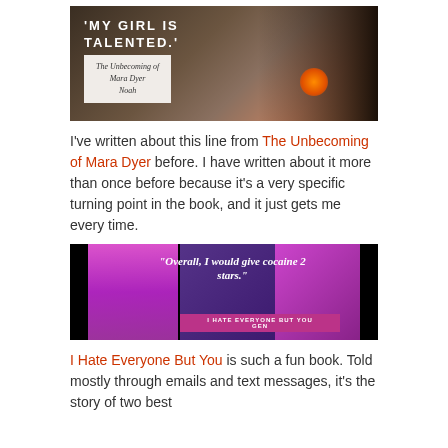[Figure (photo): Dark-toned book quote image with silhouette of person writing, text reading 'MY GIRL IS TALENTED.' with subtitle 'The Unbecoming of Mara Dyer — Noah' on a light card]
I've written about this line from The Unbecoming of Mara Dyer before. I have written about it more than once before because it's a very specific turning point in the book, and it just gets me every time.
[Figure (photo): Collage image with pink and purple panels, italic quote text: "Overall, I would give cocaine 2 stars." with tag 'I HATE EVERYONE BUT YOU GEN']
I Hate Everyone But You is such a fun book. Told mostly through emails and text messages, it's the story of two best